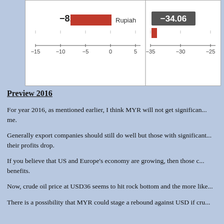[Figure (bar-chart): Horizontal bar chart showing currency percentage changes. Rupiah shown at -8.28, axis from -15 to 5. Right panel shows -34.06 with axis from -35 to -25.]
Preview 2016
For year 2016, as mentioned earlier, I think MYR will not get significant... me.
Generally export companies should still do well but those with significant... their profits drop.
If you believe that US and Europe's economy are growing, then those c... benefits.
Now, crude oil price at USD36 seems to hit rock bottom and the more like...
There is a possibility that MYR could stage a rebound against USD if cru...